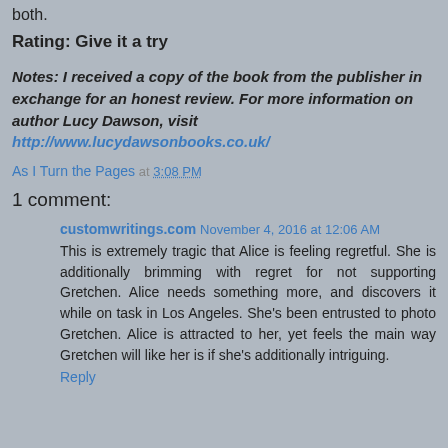both.
Rating: Give it a try
Notes: I received a copy of the book from the publisher in exchange for an honest review. For more information on author Lucy Dawson, visit http://www.lucydawsonbooks.co.uk/
As I Turn the Pages at 3:08 PM
1 comment:
customwritings.com November 4, 2016 at 12:06 AM
This is extremely tragic that Alice is feeling regretful. She is additionally brimming with regret for not supporting Gretchen. Alice needs something more, and discovers it while on task in Los Angeles. She's been entrusted to photo Gretchen. Alice is attracted to her, yet feels the main way Gretchen will like her is if she's additionally intriguing.
Reply